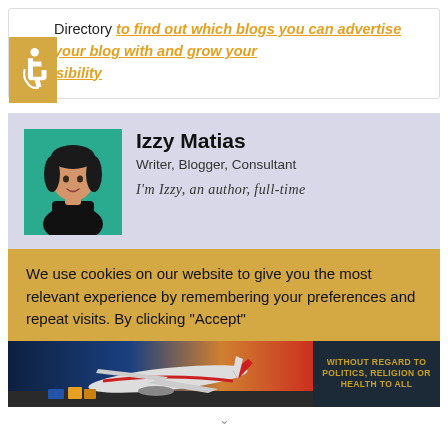Directory to find out which blogs you can advertise your blog with and grow your visibility
[Figure (illustration): Accessibility icon (wheelchair symbol) in a gold/yellow square]
[Figure (photo): Author photo of Izzy Matias against a teal background]
Izzy Matias
Writer, Blogger, Consultant
I'm Izzy, an author, full-time
We use cookies on our website to give you the most relevant experience by remembering your preferences and repeat visits. By clicking "Accept"
[Figure (photo): Advertisement banner showing a Southwest Airlines cargo plane being loaded, with text 'WITHOUT REGARD TO POLITICS, RELIGION OR HEALTH TO ALL']